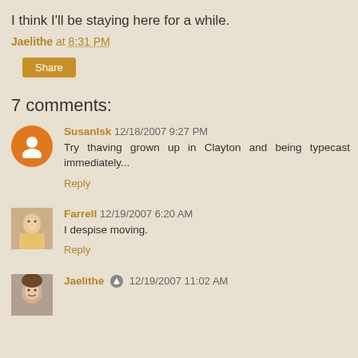I think I'll be staying here for a while.
Jaelithe at 8:31 PM
Share
7 comments:
SusanIsk 12/18/2007 9:27 PM — Try thaving grown up in Clayton and being typecast immediately... Reply
Farrell 12/19/2007 6:20 AM — I despise moving. Reply
Jaelithe 12/19/2007 11:02 AM